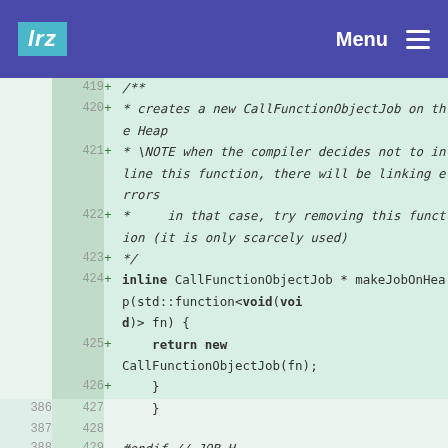lrz  Menu
Code diff view showing lines 419-429 of a C++ header file. Lines 419-426 are added (green background). Line 419: +    /** Line 420: +     * creates a new CallFunctionObjectJob on the Heap Line 421: +     * \NOTE when the compiler decides not to inline this function, there will be linking errors Line 422: +     *      in that case, try removing this function (it is only scarcely used) Line 423: +     */ Line 424: +    inline CallFunctionObjectJob * makeJobOnHeap(std::function<void(void)> fn) { Line 425: +        return new CallFunctionObjectJob(fn); Line 426: +    } Lines 386/427: } Lines 387/428: (empty) Lines 388/429: #endif // JOB_H